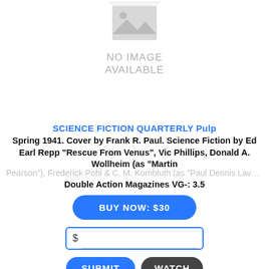[Figure (illustration): No image available placeholder icon with a grey mountain/landscape symbol]
NO IMAGE
AVAILABLE
SCIENCE FICTION QUARTERLY Pulp
Spring 1941. Cover by Frank R. Paul. Science Fiction by Ed Earl Repp "Rescue From Venus", Vic Phillips, Donald A. Wollheim (as "Martin Pearson"), Frederick Pohl & C. M. Kornbluth (as "Paul Dennis Lavond"...
Double Action Magazines VG-: 3.5
BUY NOW: $30
$ [input field]
SUBMIT   WATCH